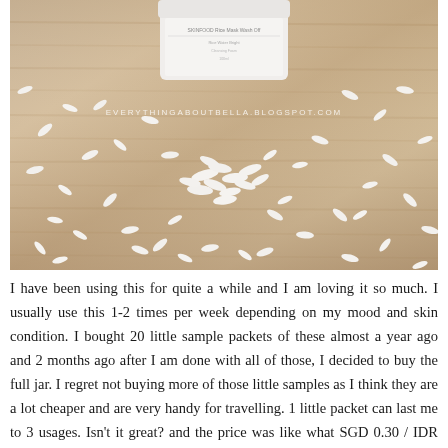[Figure (photo): Photo of a white cream jar (SKINFOOD Rice Mask Wash Off) placed on a wooden surface surrounded by scattered uncooked white rice grains. Watermark reads EVERYTHINGABOUTBELLA.BLOGSPOT.COM]
I have been using this for quite a while and I am loving it so much. I usually use this 1-2 times per week depending on my mood and skin condition. I bought 20 little sample packets of these almost a year ago and 2 months ago after I am done with all of those, I decided to buy the full jar. I regret not buying more of those little samples as I think they are a lot cheaper and are very handy for travelling. 1 little packet can last me to 3 usages. Isn't it great? and the price was like what SGD 0.30 / IDR 2,000 at that time.